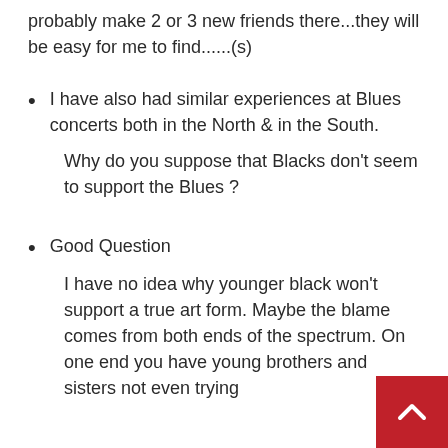probably make 2 or 3 new friends there...they will be easy for me to find......(s)
I have also had similar experiences at Blues concerts both in the North & in the South.
Why do you suppose that Blacks don't seem to support the Blues ?
Good Question
I have no idea why younger black won't support a true art form. Maybe the blame comes from both ends of the spectrum. On one end you have young brothers and sisters not even trying